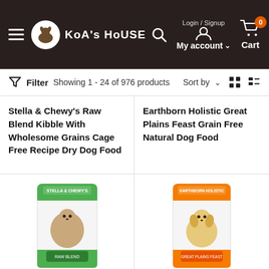KoA's HoUSE — Login / Signup — My account — Cart (0)
Filter  Showing 1 - 24 of 976 products  Sort by
Stella & Chewy's Raw Blend Kibble With Wholesome Grains Cage Free Recipe Dry Dog Food
Earthborn Holistic Great Plains Feast Grain Free Natural Dog Food
[Figure (photo): Dog food bag with green and white design, featuring a dog image on the front]
[Figure (photo): Dog food bag with orange and white design, featuring a dog image on the front]